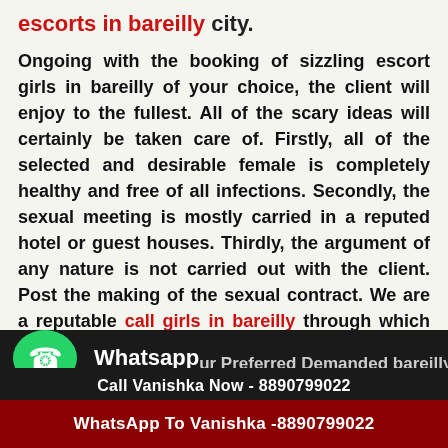escorts in bareilly city.
Ongoing with the booking of sizzling escort girls in bareilly of your choice, the client will enjoy to the fullest. All of the scary ideas will certainly be taken care of. Firstly, all of the selected and desirable female is completely healthy and free of all infections. Secondly, the sexual meeting is mostly carried in a reputed hotel or guest houses. Thirdly, the argument of any nature is not carried out with the client. Post the making of the sexual contract. We are a reputable call girls in bareilly through which the bridge amid the client and the hot bareilly call girls is possible.
[Figure (other): WhatsApp click to chat banner with green WhatsApp logo bubble icon, bold white Whatsapp text and green 'click to chat' subtext, followed by partially visible text 'ur Preferred Demanded bareilly']
Call Vanishka Now - 8890799022
WhatsApp To Vanishka -8890799022